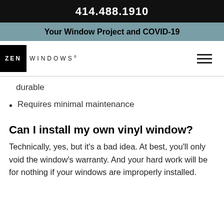414.488.1910
Your Window Project and COVID-19
[Figure (logo): Zen Windows logo with black square containing ZEN and WINDOWS text to the right]
durable
Requires minimal maintenance
Can I install my own vinyl window?
Technically, yes, but it's a bad idea. At best, you'll only void the window's warranty. And your hard work will be for nothing if your windows are improperly installed.